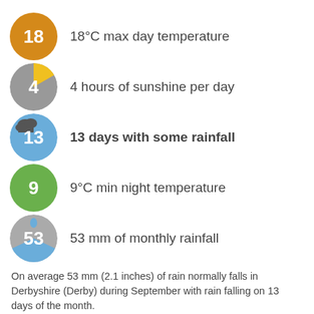18°C max day temperature
4 hours of sunshine per day
13 days with some rainfall
9°C min night temperature
53 mm of monthly rainfall
On average 53 mm (2.1 inches) of rain normally falls in Derbyshire (Derby) during September with rain falling on 13 days of the month.
Back to months
Derbyshire weather in October